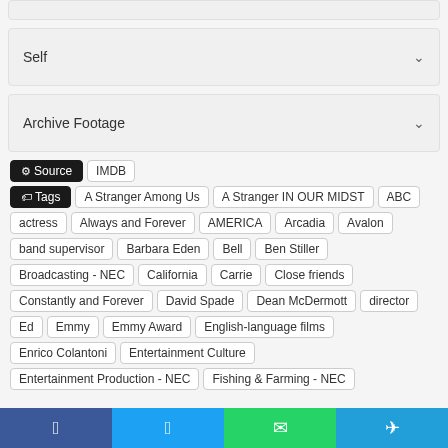Self
Archive Footage
Source  IMDB
Tags  A Stranger Among Us  A Stranger IN OUR MIDST  ABC  actress  Always and Forever  AMERICA  Arcadia  Avalon  band supervisor  Barbara Eden  Bell  Ben Stiller  Broadcasting - NEC  California  Carrie  Close friends  Constantly and Forever  David Spade  Dean McDermott  director  Ed  Emmy  Emmy Award  English-language films  Enrico Colantoni  Entertainment Culture  Entertainment Production - NEC  Fishing & Farming - NEC